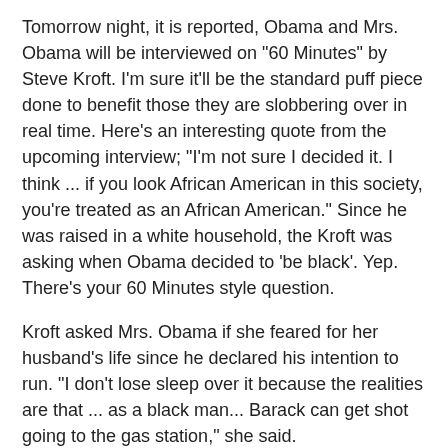Tomorrow night, it is reported, Obama and Mrs. Obama will be interviewed on "60 Minutes" by Steve Kroft. I'm sure it'll be the standard puff piece done to benefit those they are slobbering over in real time. Here's an interesting quote from the upcoming interview; "I'm not sure I decided it. I think ... if you look African American in this society, you're treated as an African American." Since he was raised in a white household, the Kroft was asking when Obama decided to 'be black'. Yep. There's your 60 Minutes style question.
Kroft asked Mrs. Obama if she feared for her husband's life since he declared his intention to run. "I don't lose sleep over it because the realities are that ... as a black man... Barack can get shot going to the gas station," she said.
Quite the pair of deep thinkers there. This kind of interview will, in the long run, do more to hurt Obama than Kroft knows. Jesse Jackson and his ilk are not running to support Obama because he isn't 'black enough' for them. So, the Obamas throw out the race card in the first national interview post-declaration as a candidate for President of the United